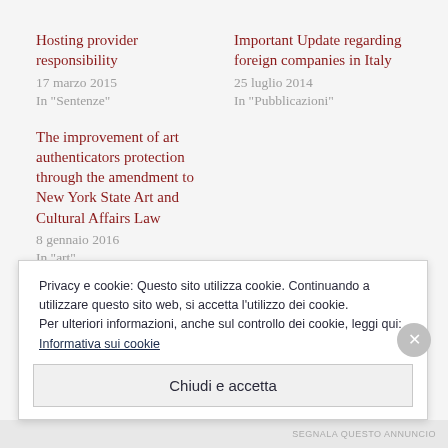Hosting provider responsibility
17 marzo 2015
In "Sentenze"
Important Update regarding foreign companies in Italy
25 luglio 2014
In "Pubblicazioni"
The improvement of art authenticators protection through the amendment to New York State Art and Cultural Affairs Law
8 gennaio 2016
In "art"
Privacy e cookie: Questo sito utilizza cookie. Continuando a utilizzare questo sito web, si accetta l’utilizzo dei cookie.
Per ulteriori informazioni, anche sul controllo dei cookie, leggi qui:
Informativa sui cookie
Chiudi e accetta